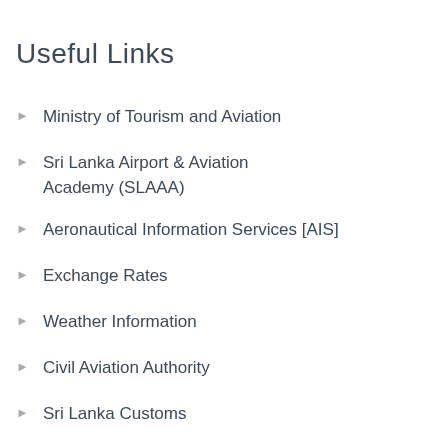Useful Links
Ministry of Tourism and Aviation
Sri Lanka Airport & Aviation Academy (SLAAA)
Aeronautical Information Services [AIS]
Exchange Rates
Weather Information
Civil Aviation Authority
Sri Lanka Customs
Department of Immigration & Emigration
Ministry Of Defence (MOD)